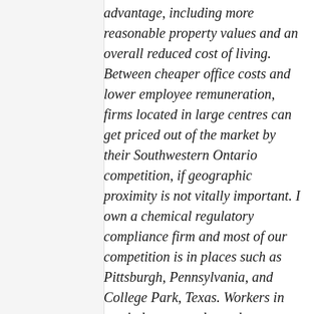advantage, including more reasonable property values and an overall reduced cost of living. Between cheaper office costs and lower employee remuneration, firms located in large centres can get priced out of the market by their Southwestern Ontario competition, if geographic proximity is not vitally important. I own a chemical regulatory compliance firm and most of our competition is in places such as Pittsburgh, Pennsylvania, and College Park, Texas. Workers in our industry mostly work on documents and talk on the phone, so work can be performed virtually anywhere. Firms in expensive real-estate markets simply cannot compete, as they get undercut on cost by their competitors. Firms in developing